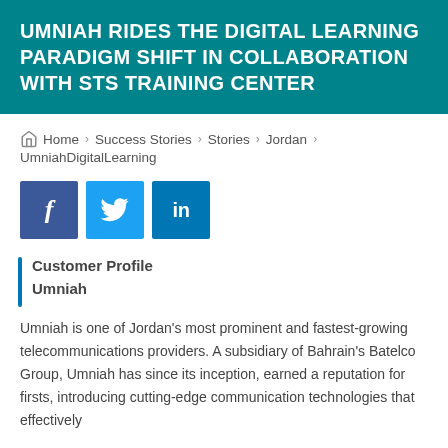UMNIAH RIDES THE DIGITAL LEARNING PARADIGM SHIFT IN COLLABORATION WITH STS TRAINING CENTER
Home > Success Stories > Stories > Jordan > UmniahDigitalLearning
[Figure (infographic): Social media share buttons: Facebook (dark blue), Twitter (light blue), LinkedIn (medium blue)]
Customer Profile
Umniah
Umniah is one of Jordan's most prominent and fastest-growing telecommunications providers. A subsidiary of Bahrain's Batelco Group, Umniah has since its inception, earned a reputation for firsts, introducing cutting-edge communication technologies that effectively